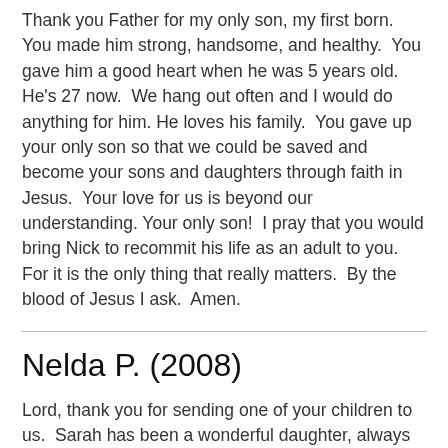Thank you Father for my only son, my first born.  You made him strong, handsome, and healthy.  You gave him a good heart when he was 5 years old.  He's 27 now.  We hang out often and I would do anything for him. He loves his family.  You gave up your only son so that we could be saved and become your sons and daughters through faith in Jesus.  Your love for us is beyond our understanding. Your only son!  I pray that you would bring Nick to recommit his life as an adult to you.  For it is the only thing that really matters.  By the blood of Jesus I ask.  Amen.
Nelda P. (2008)
Lord, thank you for sending one of your children to us.  Sarah has been a wonderful daughter, always knowing when I'm in need.  A very caring and giving